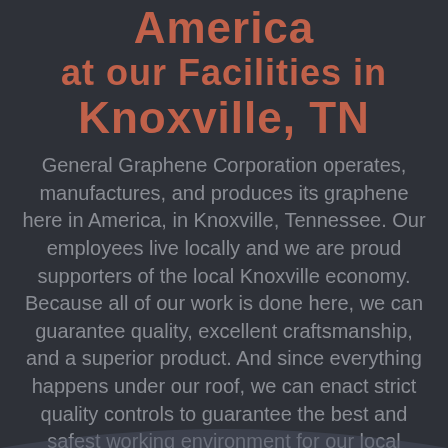America at our Facilities in Knoxville, TN
General Graphene Corporation operates, manufactures, and produces its graphene here in America, in Knoxville, Tennessee. Our employees live locally and we are proud supporters of the local Knoxville economy. Because all of our work is done here, we can guarantee quality, excellent craftsmanship, and a superior product. And since everything happens under our roof, we can enact strict quality controls to guarantee the best and safest working environment for our local employees.